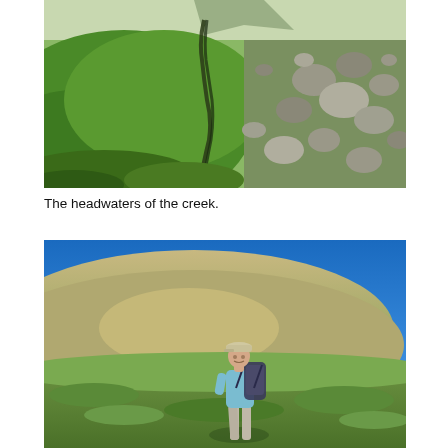[Figure (photo): Outdoor landscape photo showing a mountain creek headwater area with lush green moss-covered terrain, a narrow dark water channel running through the middle, and scattered grey boulders on the right side. Mountain peak visible in background.]
The headwaters of the creek.
[Figure (photo): Outdoor photo of a hiker wearing a light blue jacket, grey pants, and a cap, carrying a large backpack, standing on a green alpine meadow. Behind them is a rounded hill and a clear bright blue sky.]